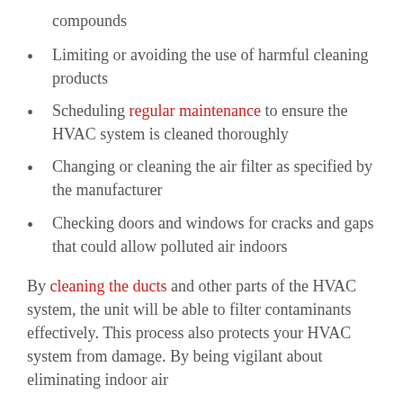compounds
Limiting or avoiding the use of harmful cleaning products
Scheduling regular maintenance to ensure the HVAC system is cleaned thoroughly
Changing or cleaning the air filter as specified by the manufacturer
Checking doors and windows for cracks and gaps that could allow polluted air indoors
By cleaning the ducts and other parts of the HVAC system, the unit will be able to filter contaminants effectively. This process also protects your HVAC system from damage. By being vigilant about eliminating indoor air